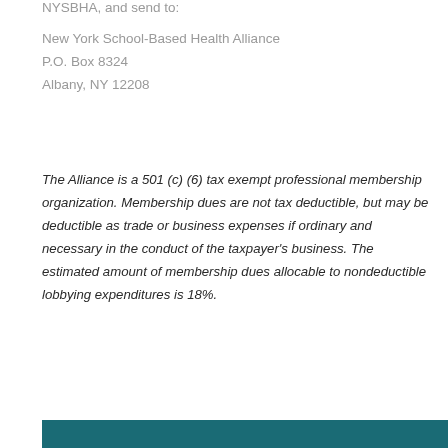NYSBHA, and send to:
New York School-Based Health Alliance
P.O. Box 8324
Albany, NY 12208
The Alliance is a 501 (c) (6) tax exempt professional membership organization. Membership dues are not tax deductible, but may be deductible as trade or business expenses if ordinary and necessary in the conduct of the taxpayer's business. The estimated amount of membership dues allocable to nondeductible lobbying expenditures is 18%.